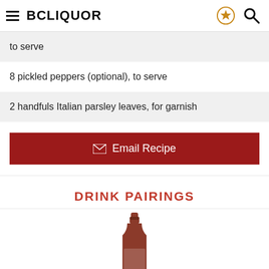BCLIQUOR
to serve
8 pickled peppers (optional), to serve
2 handfuls Italian parsley leaves, for garnish
Email Recipe
DRINK PAIRINGS
[Figure (photo): A bottle of red wine (La Fiole or similar) shown from the neck downward]